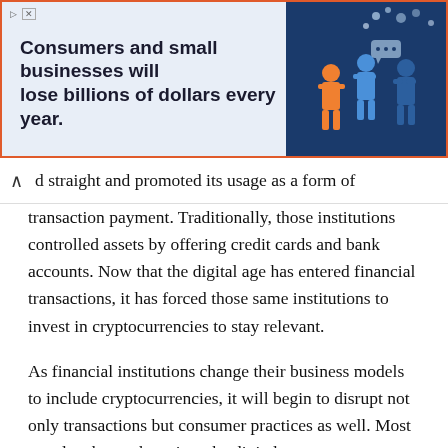[Figure (illustration): Advertisement banner with light blue background and orange border. Bold text reads 'Consumers and small businesses will lose billions of dollars every year.' Right side shows dark blue background with illustrated figures of people with speech/chat bubbles.]
d straight and promoted its usage as a form of transaction payment. Traditionally, those institutions controlled assets by offering credit cards and bank accounts. Now that the digital age has entered financial transactions, it has forced those same institutions to invest in cryptocurrencies to stay relevant.
As financial institutions change their business models to include cryptocurrencies, it will begin to disrupt not only transactions but consumer practices as well. Most people who are born into the digital age see cryptocurrency as a norm. It is the more conservative consumers that are untrusting of digital currency, which is where disruption occurs. Some consumers want to store dollars in traditional formats, and there may also be